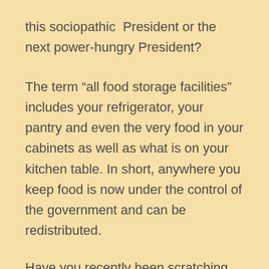this sociopathic President or the next power-hungry President?
The term “all food storage facilities” includes your refrigerator, your pantry and even the very food in your cabinets as well as what is on your kitchen table. In short, anywhere you keep food is now under the control of the government and can be redistributed.
Have you recently been scratching your head in bewilderment as you watch on the news as the Amish have had their farms raided, raw milk producers have been jailed and the kids running lemonade stands have been shut down and